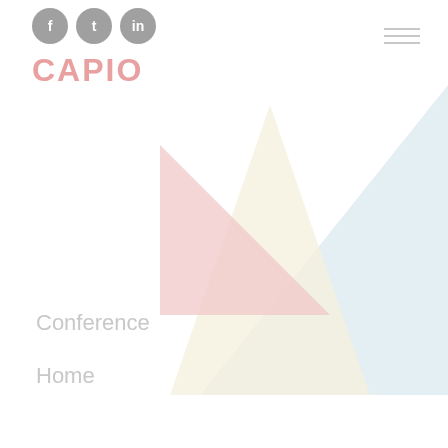[Figure (logo): CAPIO logo in light pink/salmon color with social media icons (Facebook, Twitter, LinkedIn) as gray circles above it, and a hamburger menu icon in the top right]
[Figure (illustration): Abstract decorative geometric shapes: a light pink/rose triangle pointing left, a cream/yellow triangle pointing up-right, and a large pale blue triangle filling the right side]
Conference
Home